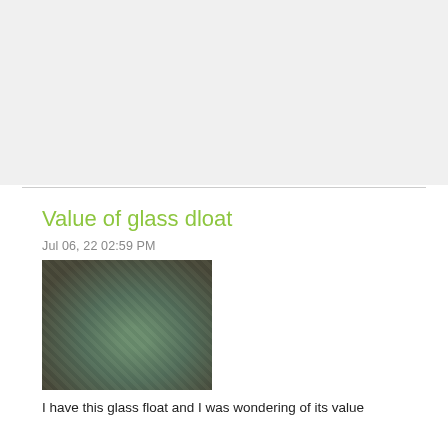Value of glass dloat
Jul 06, 22 02:59 PM
[Figure (photo): A glass fishing float wrapped in rope netting, held or resting on a dark surface, with a shop background visible.]
I have this glass float and I was wondering of its value